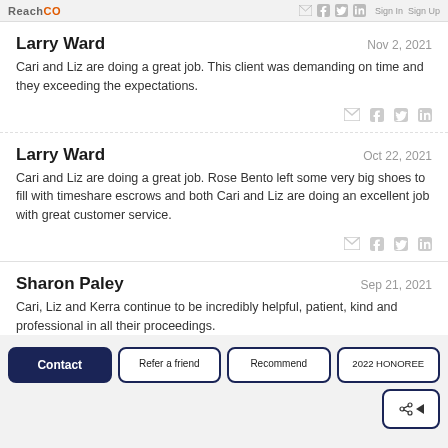ReachCO | Sign In | Sign Up
Larry Ward
Nov 2, 2021
Cari and Liz are doing a great job. This client was demanding on time and they exceeding the expectations.
Larry Ward
Oct 22, 2021
Cari and Liz are doing a great job. Rose Bento left some very big shoes to fill with timeshare escrows and both Cari and Liz are doing an excellent job with great customer service.
Sharon Paley
Sep 21, 2021
Cari, Liz and Kerra continue to be incredibly helpful, patient, kind and professional in all their proceedings.
Contact
Refer a friend
Recommend
2022 HONOREE